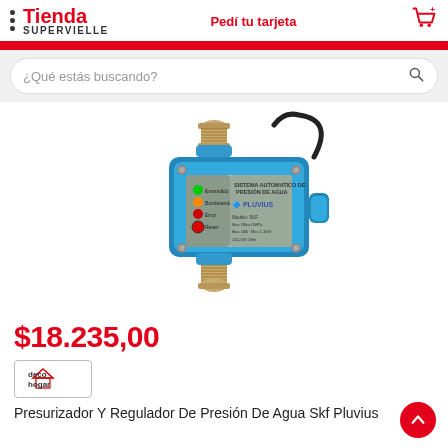Tienda SUPERVIELLE — Pedí tu tarjeta
¿Qué estás buscando?
[Figure (photo): Blue water pressure regulator device (Pluvius SKF model) with brass fittings on top and bottom, LED status indicators, and a black cable. Label reads: Sistema Automatico de Presión de Agua, Modelo SKF, Max 10bar/1MPa, Max 10A Max 1.1kW, 220-240V 50hz]
$18.235,00
[Figure (logo): Deco Hogar seller logo with house icon]
Presurizador Y Regulador De Presión De Agua Skf Pluvius